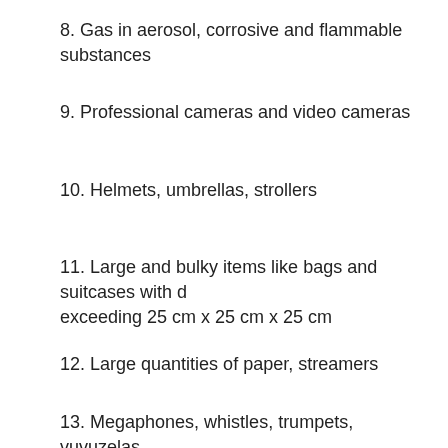8. Gas in aerosol, corrosive and flammable substances
9. Professional cameras and video cameras
10. Helmets, umbrellas, strollers
11. Large and bulky items like bags and suitcases with dimensions exceeding 25 cm x 25 cm x 25 cm
12. Large quantities of paper, streamers
13. Megaphones, whistles, trumpets, vuvuzelas